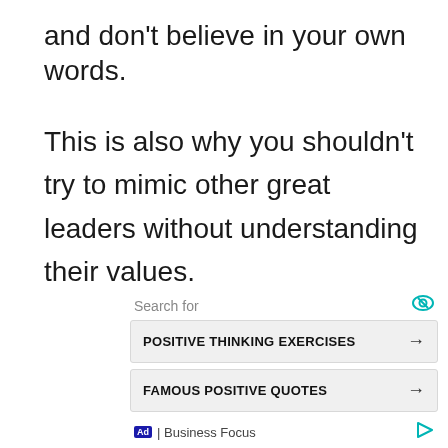and don't believe in your own words.
This is also why you shouldn't try to mimic other great leaders without understanding their values.
[Figure (other): Advertisement block with 'Search for' label, eye icon, two search result buttons ('POSITIVE THINKING EXERCISES' and 'FAMOUS POSITIVE QUOTES') with arrows, and footer with Ad badge, 'Business Focus' label, and play icon.]